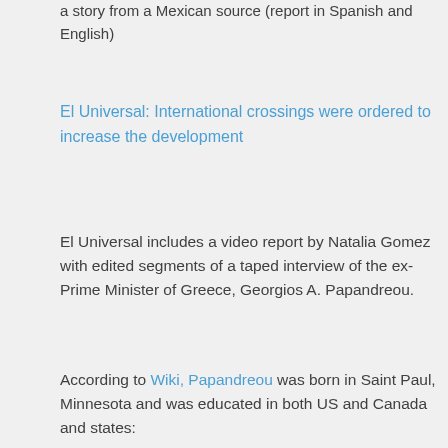a story from a Mexican source (report in Spanish and English)
El Universal: International crossings were ordered to increase the development
El Universal includes a video report by Natalia Gomez with edited segments of a taped interview of the ex-Prime Minister of Greece, Georgios A. Papandreou.
According to Wiki, Papandreou was born in Saint Paul, Minnesota and was educated in both US and Canada and states: